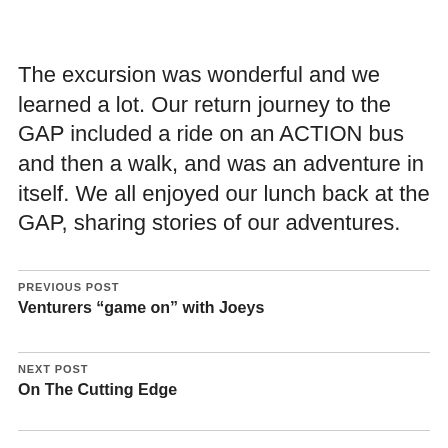The excursion was wonderful and we learned a lot.  Our return journey to the GAP included a ride on an ACTION bus and then a walk, and was an adventure in itself.  We all enjoyed our lunch back at the GAP, sharing stories of our adventures.
PREVIOUS POST
Venturers “game on” with Joeys
NEXT POST
On The Cutting Edge